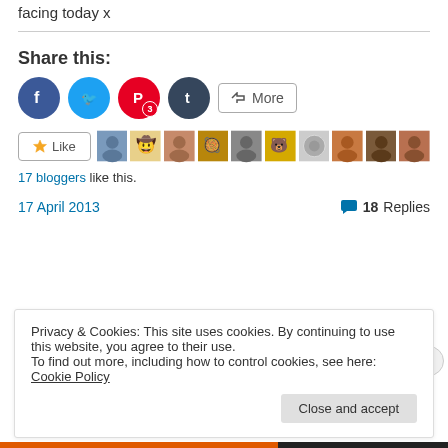facing today x
Share this:
[Figure (other): Social sharing buttons: Facebook, Twitter, Pinterest (3), Tumblr, and More button]
[Figure (other): Like button and row of 10 blogger avatar thumbnails]
17 bloggers like this.
17 April 2013    💬 18 Replies
Privacy & Cookies: This site uses cookies. By continuing to use this website, you agree to their use. To find out more, including how to control cookies, see here: Cookie Policy
Close and accept